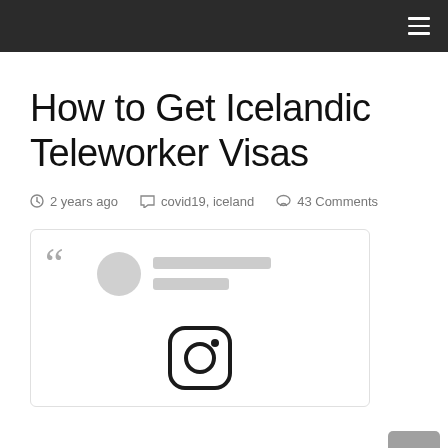Navigation bar with hamburger menu
How to Get Icelandic Teleworker Visas
2 years ago   covid19, iceland   43 Comments
[Figure (screenshot): Embedded social media card with quote marks, profile avatar placeholder, two loading skeleton lines, and an Instagram logo icon at the bottom center]
[Figure (other): Scroll-to-top button (grey, rounded square with upward chevron) in the bottom-right corner]